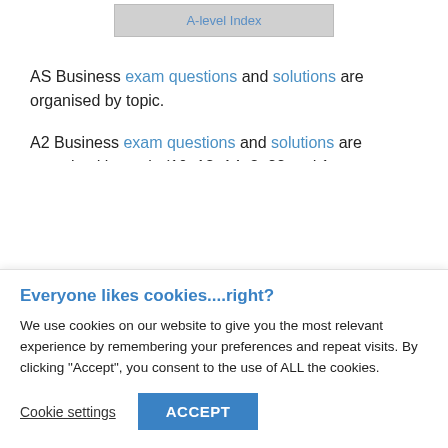[Figure (other): A-level Index button — grey background with blue link text]
AS Business exam questions and solutions are organised by topic.
A2 Business exam questions and solutions are organised by topic (10, 13, 14, 3, 22 and 1...
Everyone likes cookies....right?
We use cookies on our website to give you the most relevant experience by remembering your preferences and repeat visits. By clicking "Accept", you consent to the use of ALL the cookies.
Cookie settings | ACCEPT